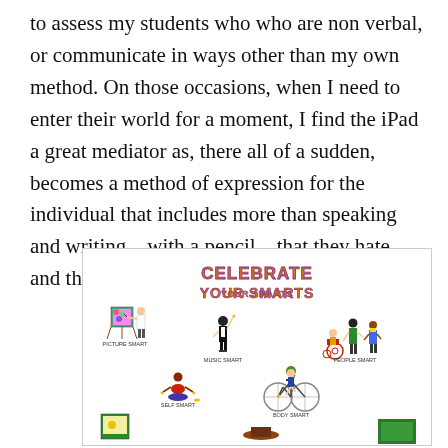to assess my students who who are non verbal, or communicate in ways other than my own method. On those occasions, when I need to enter their world for a moment, I find the iPad a great mediator as, there all of a sudden, becomes a method of expression for the individual that includes more than speaking and writing…with a pencil…that they hate…and then they throw at me. Sigh, I love them.
[Figure (illustration): Colorful educational poster titled 'Celebrate Your Smarts' showing cartoon figures representing multiple intelligences: Picture Smart (person painting at easel), Music Smart (conductor with baton), People Smart (figures including one in wheelchair), Self Smart (person meditating), Body Smart (person with bicycle), and partially visible Nature Smart and other figures at bottom.]